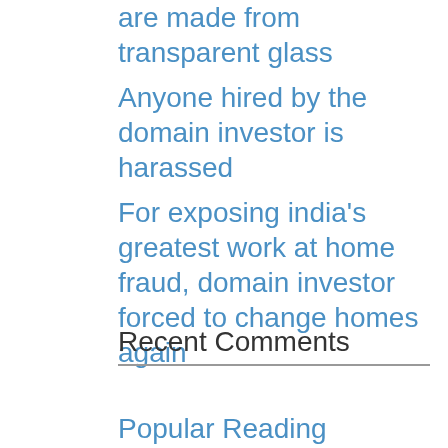are made from transparent glass
Anyone hired by the domain investor is harassed
For exposing india’s greatest work at home fraud, domain investor forced to change homes again
Recent Comments
Popular Reading